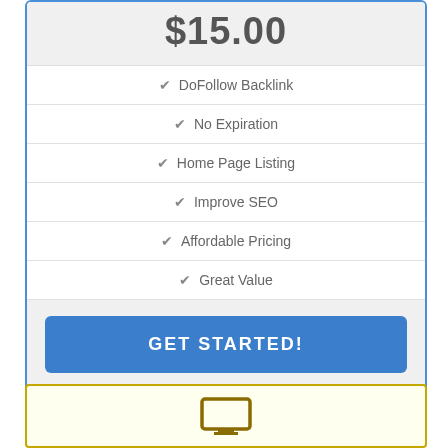$15.00
✔ DoFollow Backlink
✔ No Expiration
✔ Home Page Listing
✔ Improve SEO
✔ Affordable Pricing
✔ Great Value
GET STARTED!
[Figure (other): Bottom yellow box with a dark gold/olive icon of a computer monitor or laptop, partially visible]